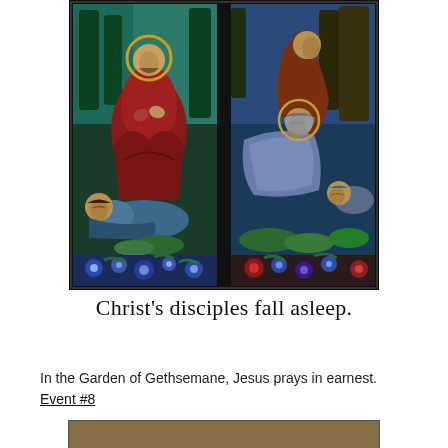[Figure (illustration): Stained glass window depicting Christ praying in the Garden of Gethsemane while his disciples fall asleep. Christ is shown in red robes kneeling in prayer in the left panel, while sleeping disciples are visible in both panels. Decorative floral borders at the bottom.]
Christ’s disciples fall asleep.
In the Garden of Gethsemane, Jesus prays in earnest. Event #8
[Figure (photo): Partial view of another image at the bottom of the page, cut off.]